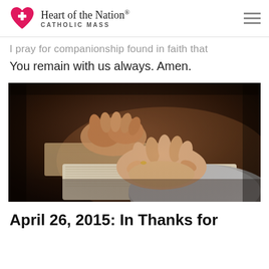Heart of the Nation. CATHOLIC MASS
I pray for companionship found in faith that You remain with us always. Amen.
[Figure (photo): Two pairs of hands clasped in prayer resting on open Bibles on a wooden table, with warm dramatic lighting and dark background.]
April 26, 2015: In Thanks for Mercies...